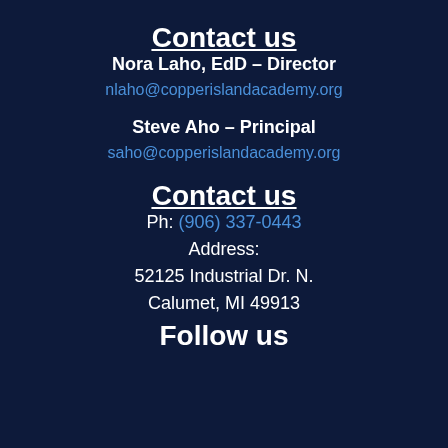Contact us
Nora Laho, EdD – Director
nlaho@copperislandacademy.org
Steve Aho – Principal
saho@copperislandacademy.org
Contact us
Ph: (906) 337-0443
Address:
52125 Industrial Dr. N.
Calumet, MI 49913
Follow us